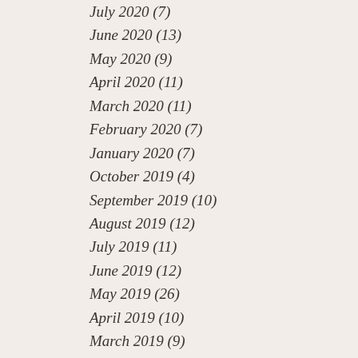July 2020 (7)
June 2020 (13)
May 2020 (9)
April 2020 (11)
March 2020 (11)
February 2020 (7)
January 2020 (7)
October 2019 (4)
September 2019 (10)
August 2019 (12)
July 2019 (11)
June 2019 (12)
May 2019 (26)
April 2019 (10)
March 2019 (9)
February 2019 (14)
January 2019 (12)